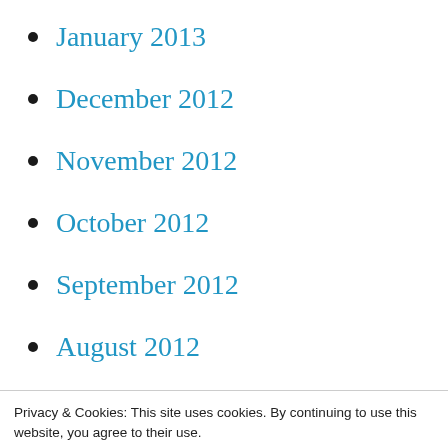January 2013
December 2012
November 2012
October 2012
September 2012
August 2012
July 2012
June 2012
May 2012
April 2012
March 2012
Privacy & Cookies: This site uses cookies. By continuing to use this website, you agree to their use.
To find out more, including how to control cookies, see here:
Cookie Policy
October 2011